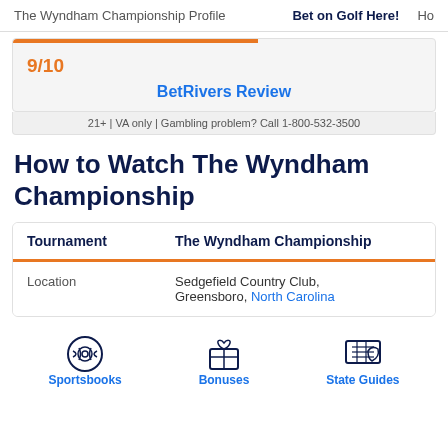The Wyndham Championship Profile | Bet on Golf Here! | Ho
9/10
BetRivers Review
21+ | VA only | Gambling problem? Call 1-800-532-3500
How to Watch The Wyndham Championship
| Tournament | The Wyndham Championship |
| --- | --- |
| Location | Sedgefield Country Club, Greensboro, North Carolina |
Sportsbooks | Bonuses | State Guides